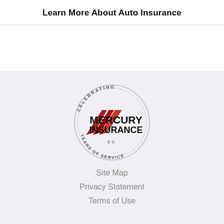Learn More About Auto Insurance
[Figure (logo): Mercury Insurance 60 Years of Service logo with circular badge and red arrow graphic]
Site Map
Privacy Statement
Terms of Use